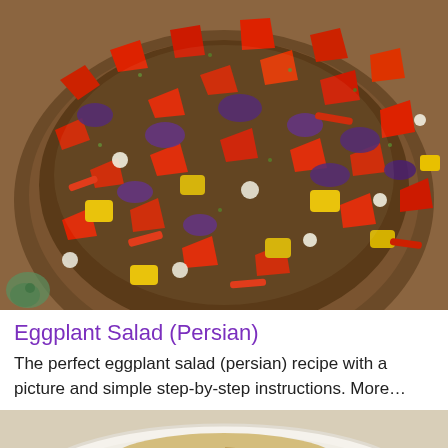[Figure (photo): A wooden bowl filled with chopped eggplant salad — diced tomatoes (red), yellow bell peppers, purple eggplant pieces, and white onion, all glistening with dressing and herbs.]
Eggplant Salad (Persian)
The perfect eggplant salad (persian) recipe with a picture and simple step-by-step instructions. More…
[Figure (photo): A white plate with a portion of shredded or grated food (possibly fried or baked hash browns / eggplant) in golden-brown strands.]